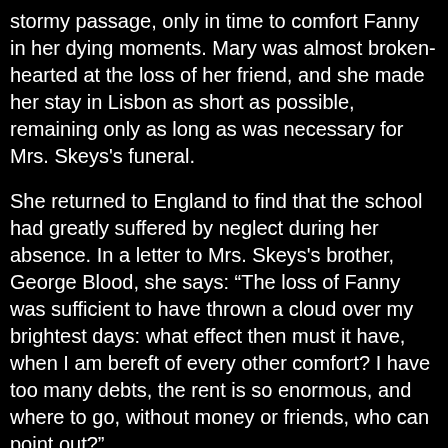stormy passage, only in time to comfort Fanny in her dying moments. Mary was almost broken-hearted at the loss of her friend, and she made her stay in Lisbon as short as possible, remaining only as long as was necessary for Mrs. Skeys's funeral.
She returned to England to find that the school had greatly suffered by neglect during her absence. In a letter to Mrs. Skeys's brother, George Blood, she says: “The loss of Fanny was sufficient to have thrown a cloud over my brightest days: what effect then must it have, when I am bereft of every other comfort? I have too many debts, the rent is so enormous, and where to go, without money or friends, who can point out?”
She thus realized that to continue her school was useless. But her experience as a schoolmistress was to bear fruit in the future. She had observed some of the defects of the educational methods of her time, and her earliest published effort was a pamphlet entitled, “Thoughts on the Education of Daughters,” (1787). For this essay she received ten guineas, a sum that she gave to the parents of her friend, Mr. and Mrs. Blood, who were desirous of going over to Ireland.
She soon went to Ireland herself, for in the October of 1787